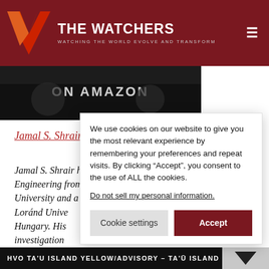THE WATCHERS — WATCHING THE WORLD EVOLVE AND TRANSFORM
[Figure (photo): Dark image strip with text ON AMAZON partially visible]
Jamal S. Shrair
Jamal S. Shrair has a B.Sc. in Electrical Engineering from Canada's Queen's University and a M.Sc. in experimental... Loránd Unive... Hungary. His ... investigation ... detector. In hi... faculty of elec... at the Budape...
We use cookies on our website to give you the most relevant experience by remembering your preferences and repeat visits. By clicking “Accept”, you consent to the use of ALL the cookies.
Do not sell my personal information.
Cookie settings
Accept
HVO TA'U ISLAND YELLOW/ADVISORY – TA'Ū ISLAND EA